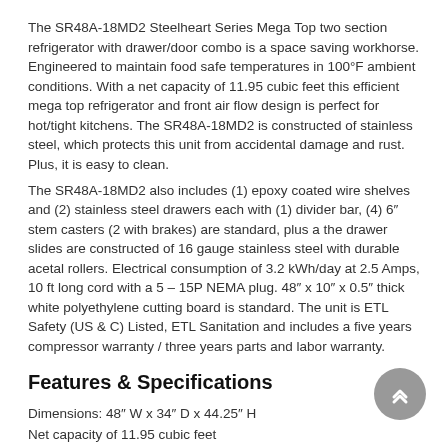The SR48A-18MD2 Steelheart Series Mega Top two section refrigerator with drawer/door combo is a space saving workhorse. Engineered to maintain food safe temperatures in 100°F ambient conditions. With a net capacity of 11.95 cubic feet this efficient mega top refrigerator and front air flow design is perfect for hot/tight kitchens. The SR48A-18MD2 is constructed of stainless steel, which protects this unit from accidental damage and rust. Plus, it is easy to clean.
The SR48A-18MD2 also includes (1) epoxy coated wire shelves and (2) stainless steel drawers each with (1) divider bar, (4) 6″ stem casters (2 with brakes) are standard, plus a the drawer slides are constructed of 16 gauge stainless steel with durable acetal rollers. Electrical consumption of 3.2 kWh/day at 2.5 Amps, 10 ft long cord with a 5 – 15P NEMA plug. 48″ x 10″ x 0.5″ thick white polyethylene cutting board is standard. The unit is ETL Safety (US & C) Listed, ETL Sanitation and includes a five years compressor warranty / three years parts and labor warranty.
Features & Specifications
Dimensions: 48″ W x 34″ D x 44.25″ H
Net capacity of 11.95 cubic feet
Innovative air distribution system distributes air evenly to maintain product temperature
Enamel coated evaporator coil for extended life